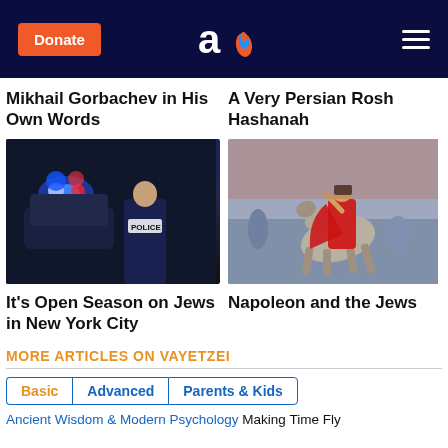Donate | [Aish logo] | [Menu]
Mikhail Gorbachev in His Own Words
A Very Persian Rosh Hashanah
[Figure (photo): Police officer in vest labeled POLICE standing in front of police car with blue/red flashing lights at night]
[Figure (photo): Painting of Napoleon on horseback, wearing red cape and hat, with soldiers behind him]
It's Open Season on Jews in New York City
Napoleon and the Jews
MORE ARTICLES ON VAYETZEI
Basic
Advanced
Parents & Kids
Ancient Wisdom & Modern Psychology Making Time Fly